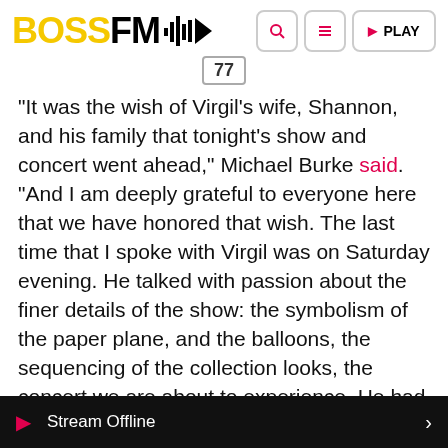BOSS FM [logo with waveform/play icon]
“It was the wish of Virgil’s wife, Shannon, and his family that tonight’s show and concert went ahead,” Michael Burke said. “And I am deeply grateful to everyone here that we have honored that wish. The last time that I spoke with Virgil was on Saturday evening. He talked with passion about the finer details of the show: the symbolism of the paper plane, and the balloons, the sequencing of the collection looks, the concert we are about to experience. He had imagined it all, and he was distraught not to be here to share it with us in …”
Stream Offline